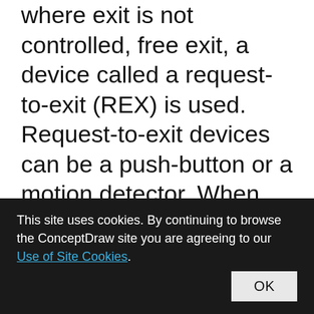where exit is not controlled, free exit, a device called a request-to-exit (REX) is used. Request-to-exit devices can be a push-button or a motion detector. When the button is pushed, or the motion detector detects motion at the door, the door alarm is temporarily ignored while the door is opened. Exiting a door without having to electrically unlock the door is called mechanical free egress. This is an important safety feature. In cases where the
This site uses cookies. By continuing to browse the ConceptDraw site you are agreeing to our Use of Site Cookies. OK